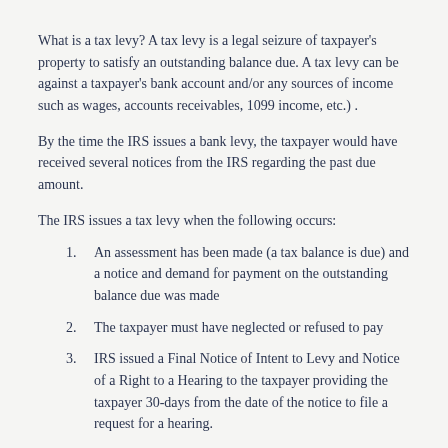What is a tax levy? A tax levy is a legal seizure of taxpayer's property to satisfy an outstanding balance due. A tax levy can be against a taxpayer's bank account and/or any sources of income such as wages, accounts receivables, 1099 income, etc.) .
By the time the IRS issues a bank levy, the taxpayer would have received several notices from the IRS regarding the past due amount.
The IRS issues a tax levy when the following occurs:
An assessment has been made (a tax balance is due) and a notice and demand for payment on the outstanding balance due was made
The taxpayer must have neglected or refused to pay
IRS issued a Final Notice of Intent to Levy and Notice of a Right to a Hearing to the taxpayer providing the taxpayer 30-days from the date of the notice to file a request for a hearing.
When the financial institution such as banks, credit unions, savings and loans, etc. receives the Notice of Levy, they will place a “freeze” on the account and charge the taxpayer a